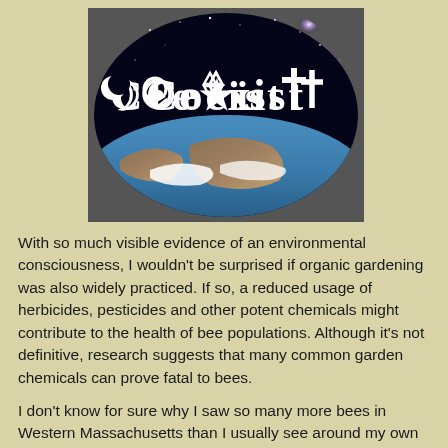[Figure (illustration): Coexist bumper sticker image showing the word COEXIST spelled out with religious symbols (crescent moon, peace sign, gender symbol, Star of David, yin-yang, cross) against a dark oval background with an image of Earth below and stars above.]
With so much visible evidence of an environmental consciousness, I wouldn't be surprised if organic gardening was also widely practiced.  If so, a reduced usage of herbicides, pesticides and other potent chemicals might contribute to the health of bee populations.  Although it's not definitive, research suggests that many common garden chemicals can prove fatal to bees.
I don't know for sure why I saw so many more bees in Western Massachusetts than I usually see around my own